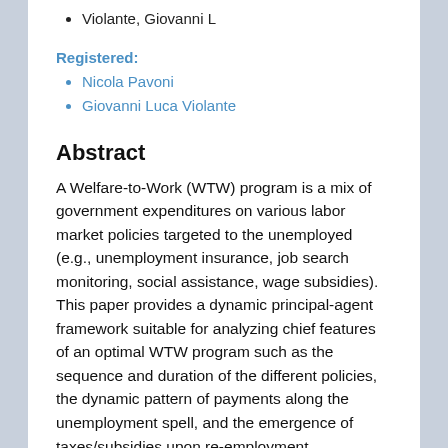Violante, Giovanni L
Registered:
Nicola Pavoni
Giovanni Luca Violante
Abstract
A Welfare-to-Work (WTW) program is a mix of government expenditures on various labor market policies targeted to the unemployed (e.g., unemployment insurance, job search monitoring, social assistance, wage subsidies). This paper provides a dynamic principal-agent framework suitable for analyzing chief features of an optimal WTW program such as the sequence and duration of the different policies, the dynamic pattern of payments along the unemployment spell, and the emergence of taxes/subsidies upon re-employment.